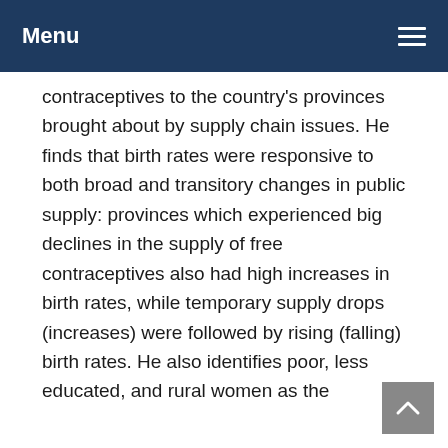Menu
contraceptives to the country's provinces brought about by supply chain issues. He finds that birth rates were responsive to both broad and transitory changes in public supply: provinces which experienced big declines in the supply of free contraceptives also had high increases in birth rates, while temporary supply drops (increases) were followed by rising (falling) birth rates. He also identifies poor, less educated, and rural women as the